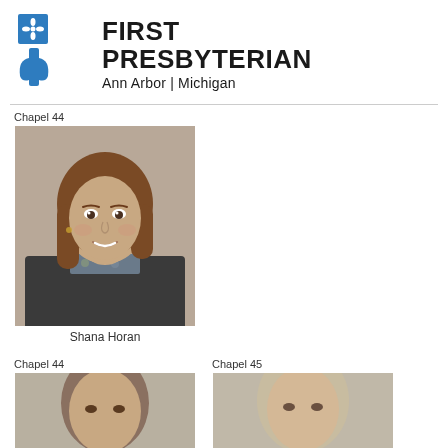[Figure (logo): First Presbyterian Church logo with blue cross and plant/vine design]
FIRST PRESBYTERIAN
Ann Arbor | Michigan
Chapel 44
[Figure (photo): Portrait photo of Shana Horan, a woman with shoulder-length brown hair, smiling, wearing a dark cardigan over a floral top]
Shana Horan
Chapel 44
Chapel 45
[Figure (photo): Partial portrait photo, bottom portion cut off]
[Figure (photo): Partial portrait photo, bottom portion cut off]